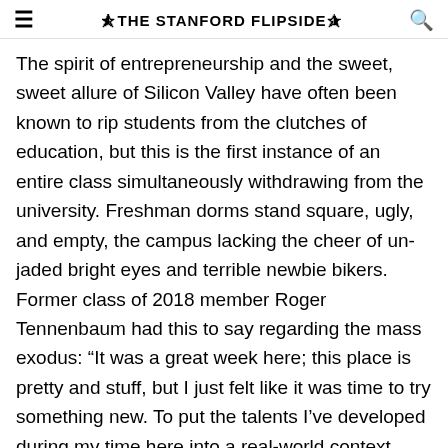THE STANFORD FLIPSIDE
The spirit of entrepreneurship and the sweet, sweet allure of Silicon Valley have often been known to rip students from the clutches of education, but this is the first instance of an entire class simultaneously withdrawing from the university. Freshman dorms stand square, ugly, and empty, the campus lacking the cheer of un-jaded bright eyes and terrible newbie bikers. Former class of 2018 member Roger Tennenbaum had this to say regarding the mass exodus: “It was a great week here; this place is pretty and stuff, but I just felt like it was time to try something new. To put the talents I’ve developed during my time here into a real-world context. Plus I fucking love frozen